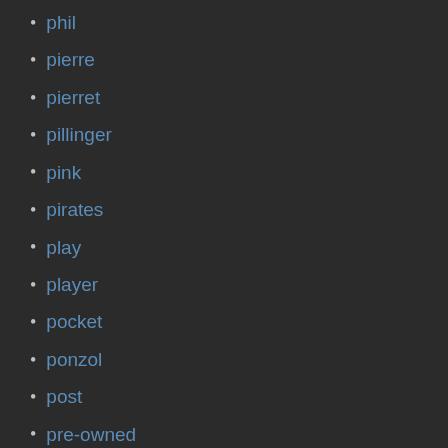phil
pierre
pierret
pillinger
pink
pirates
play
player
pocket
ponzol
post
pre-owned
prestini
pristine
professional
project
propac
proper
protec
purchase
purple
queen
raise